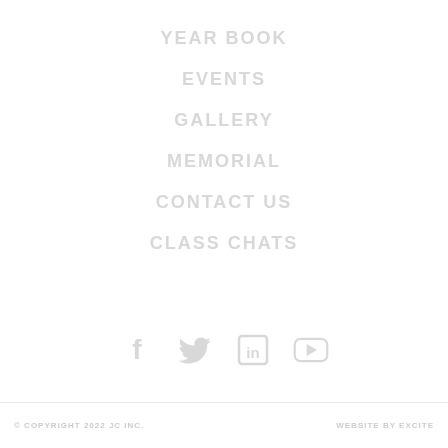YEAR BOOK
EVENTS
GALLERY
MEMORIAL
CONTACT US
CLASS CHATS
[Figure (other): Social media icons: Facebook, Twitter, LinkedIn, YouTube]
© COPYRIGHT 2022 JC INC.    WEBSITE BY EXCITE